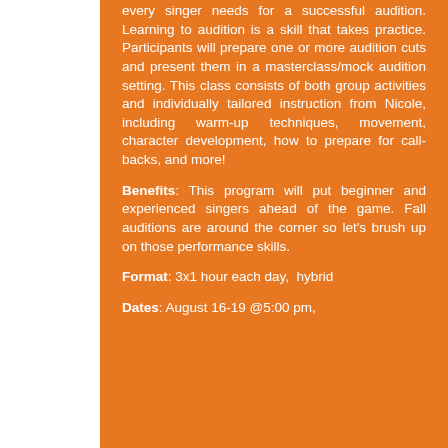every singer needs for a successful audition. Learning to audition is a skill that takes practice. Participants will prepare one or more audition cuts and present them in a masterclass/mock audition setting. This class consists of both group activities and individually tailored instruction from Nicole, including warm-up techniques, movement, character development, how to prepare for call-backs, and more!
Benefits: This program will put beginner and experienced singers ahead of the game. Fall auditions are around the corner so let's brush up on those performance skills.
Format: 3x1 hour each day,  hybrid
Dates: August 16-19 @5:00 pm,